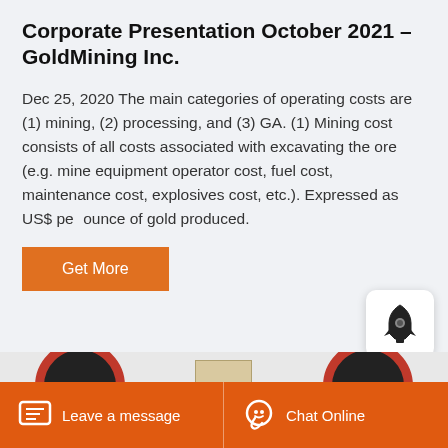Corporate Presentation October 2021 – GoldMining Inc.
Dec 25, 2020 The main categories of operating costs are (1) mining, (2) processing, and (3) GA. (1) Mining cost consists of all costs associated with excavating the ore (e.g. mine equipment operator cost, fuel cost, maintenance cost, explosives cost, etc.). Expressed as US$ per ounce of gold produced.
[Figure (other): Orange 'Get More' button]
[Figure (photo): Industrial wheels/pulleys and mechanical parts shown at bottom of page]
Leave a message   Chat Online